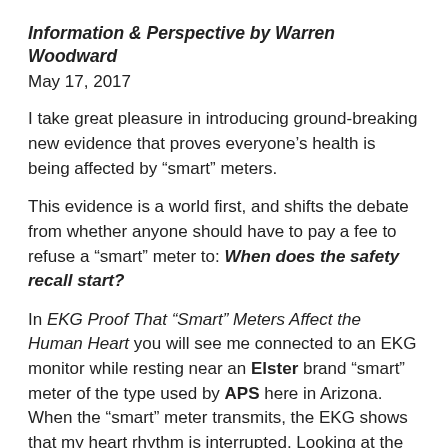Information & Perspective by Warren Woodward
May 17, 2017
I take great pleasure in introducing ground-breaking new evidence that proves everyone’s health is being affected by “smart” meters.
This evidence is a world first, and shifts the debate from whether anyone should have to pay a fee to refuse a “smart” meter to: When does the safety recall start?
In EKG Proof That “Smart” Meters Affect the Human Heart you will see me connected to an EKG monitor while resting near an Elster brand “smart” meter of the type used by APS here in Arizona. When the “smart” meter transmits, the EKG shows that my heart rhythm is interrupted. Looking at the results of the EKG is startling.